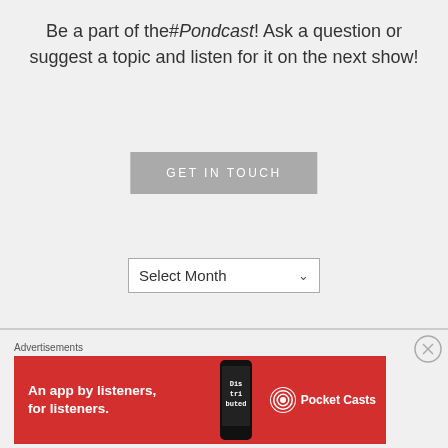Be a part of the#Pondcast! Ask a question or suggest a topic and listen for it on the next show!
[Figure (other): A grey 'GET IN TOUCH' button]
[Figure (other): A 'Select Month' dropdown selector]
Advertisements
[Figure (other): Pocket Casts advertisement banner on red background reading 'An app by listeners, for listeners.' with Pocket Casts logo and phone image]